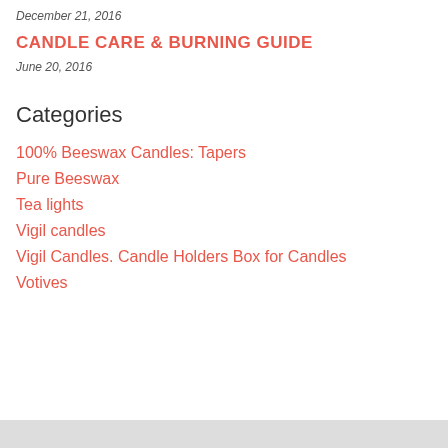December 21, 2016
CANDLE CARE & BURNING GUIDE
June 20, 2016
Categories
100% Beeswax Candles: Tapers
Pure Beeswax
Tea lights
Vigil candles
Vigil Candles. Candle Holders Box for Candles
Votives